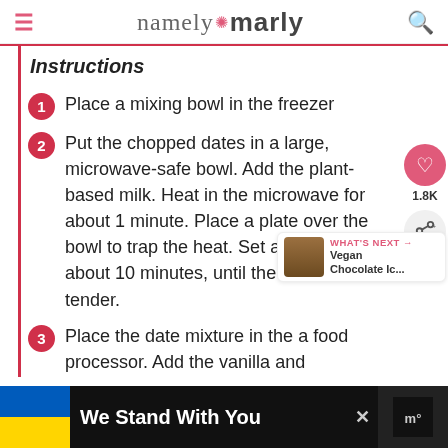namely marly
Instructions
Place a mixing bowl in the freezer
Put the chopped dates in a large, microwave-safe bowl. Add the plant-based milk. Heat in the microwave for about 1 minute. Place a plate over the bowl to trap the heat. Set aside for about 10 minutes, until the dates are tender.
Place the date mixture in the a food processor. Add the vanilla and
We Stand With You